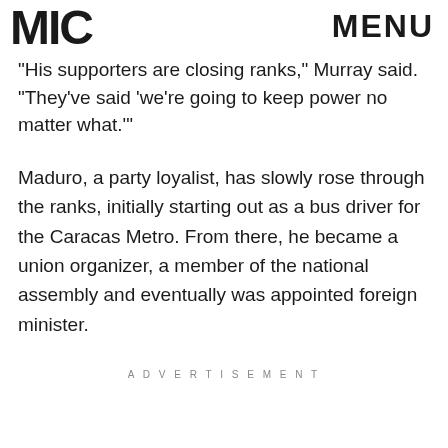MIC | MENU
“His supporters are closing ranks,” Murray said. “They’ve said ‘we’re going to keep power no matter what.’”
Maduro, a party loyalist, has slowly rose through the ranks, initially starting out as a bus driver for the Caracas Metro. From there, he became a union organizer, a member of the national assembly and eventually was appointed foreign minister.
ADVERTISEMENT